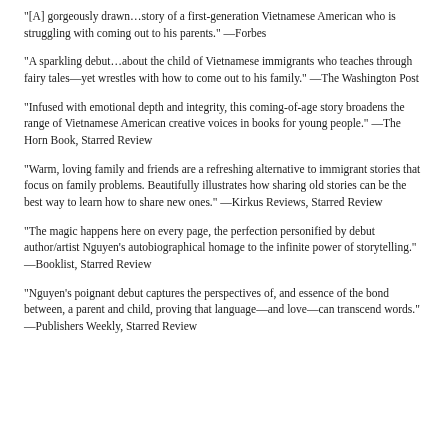"[A] gorgeously drawn…story of a first-generation Vietnamese American who is struggling with coming out to his parents." —Forbes
"A sparkling debut…about the child of Vietnamese immigrants who teaches through fairy tales—yet wrestles with how to come out to his family." —The Washington Post
"Infused with emotional depth and integrity, this coming-of-age story broadens the range of Vietnamese American creative voices in books for young people." —The Horn Book, Starred Review
"Warm, loving family and friends are a refreshing alternative to immigrant stories that focus on family problems. Beautifully illustrates how sharing old stories can be the best way to learn how to share new ones." —Kirkus Reviews, Starred Review
"The magic happens here on every page, the perfection personified by debut author/artist Nguyen's autobiographical homage to the infinite power of storytelling." —Booklist, Starred Review
"Nguyen's poignant debut captures the perspectives of, and essence of the bond between, a parent and child, proving that language—and love—can transcend words." —Publishers Weekly, Starred Review